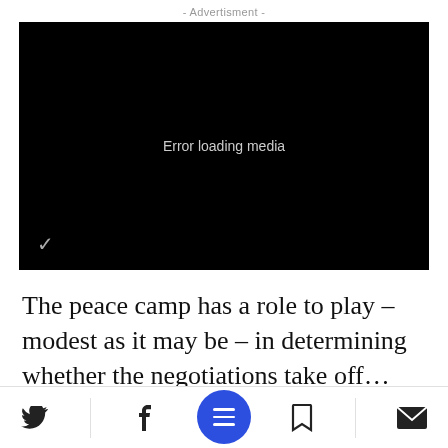- Advertisment -
[Figure (screenshot): Black video player with 'Error loading media' text in center and Verizon checkmark logo in bottom-left corner]
The peace camp has a role to play – modest as it may be – in determining whether the negotiations take off… the “framework” is
Bottom navigation bar with Twitter, Facebook, hamburger menu (blue FAB), bookmark, and email icons